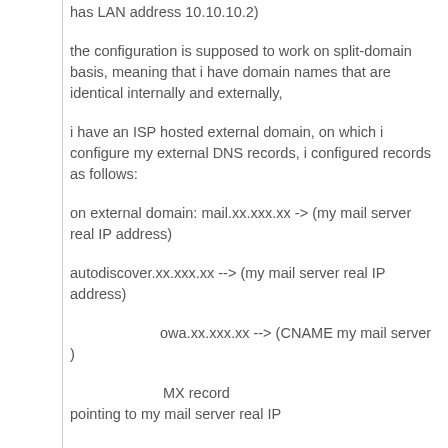has LAN address 10.10.10.2)
the configuration is supposed to work on split-domain basis, meaning that i have domain names that are identical internally and externally,
i have an ISP hosted external domain, on which i configure my external DNS records, i configured records as follows:
on external domain: mail.xx.xxx.xx --> (my mail server real IP address)
autodiscover.xx.xxx.xx --> (my mail server real IP address)
owa.xx.xxx.xx --> (CNAME my mail server )
MX record pointing to my mail server real IP